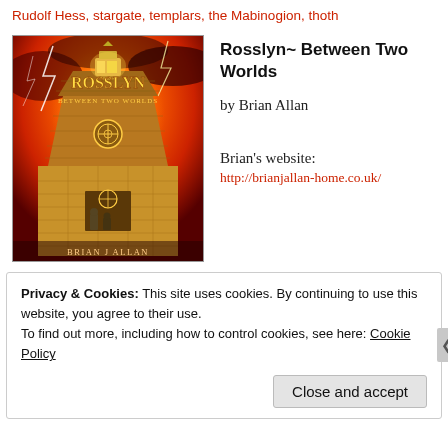Rudolf Hess, stargate, templars, the Mabinogion, thoth
[Figure (illustration): Book cover of 'Rosslyn Between Two Worlds' by Brian J Allan, showing a dark fantasy illustration of Rosslyn Chapel with fiery red and orange sky, lightning, and golden brick architecture]
Rosslyn~ Between Two Worlds
by Brian Allan
Brian's website:
http://brianjallan-home.co.uk/
Privacy & Cookies: This site uses cookies. By continuing to use this website, you agree to their use.
To find out more, including how to control cookies, see here: Cookie Policy
Close and accept